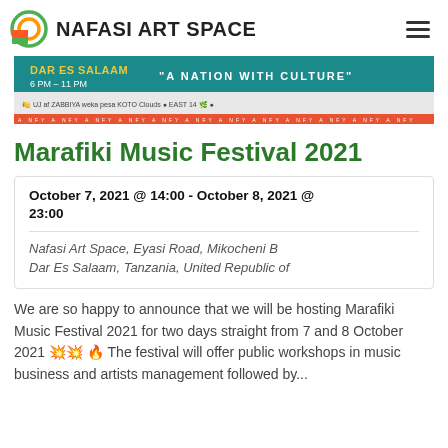NAFASI ART SPACE
[Figure (photo): Marafiki Music Festival 2021 banner showing 'DAR ES SALAAM 6 PM - 11 PM' and 'A NATION WITH CULTURE' with sponsor logos on teal background]
Marafiki Music Festival 2021
October 7, 2021 @ 14:00 - October 8, 2021 @ 23:00
Nafasi Art Space, Eyasi Road, Mikocheni B Dar Es Salaam, Tanzania, United Republic of
We are so happy to announce that we will be hosting Marafiki Music Festival 2021 for two days straight from 7 and 8 October 2021 🎆🎆 🔥 The festival will offer public workshops in music business and artists management followed by...